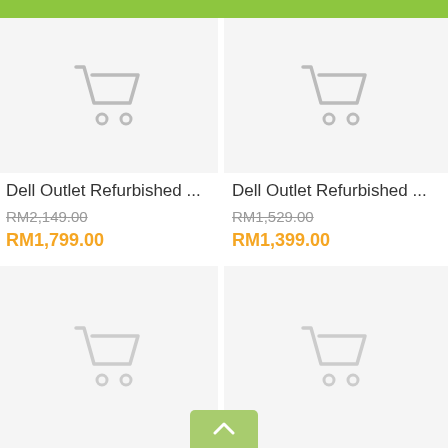[Figure (screenshot): Green top navigation bar]
[Figure (screenshot): Product card 1: Dell Outlet Refurbished ... with shopping cart placeholder image, original price RM2,149.00 crossed out, sale price RM1,799.00 in orange]
Dell Outlet Refurbished ...
RM2,149.00
RM1,799.00
[Figure (screenshot): Product card 2: Dell Outlet Refurbished ... with shopping cart placeholder image, original price RM1,529.00 crossed out, sale price RM1,399.00 in orange]
Dell Outlet Refurbished ...
RM1,529.00
RM1,399.00
[Figure (screenshot): Product card 3: empty product card with shopping cart placeholder image, bottom left]
[Figure (screenshot): Product card 4: empty product card with shopping cart placeholder image, bottom right]